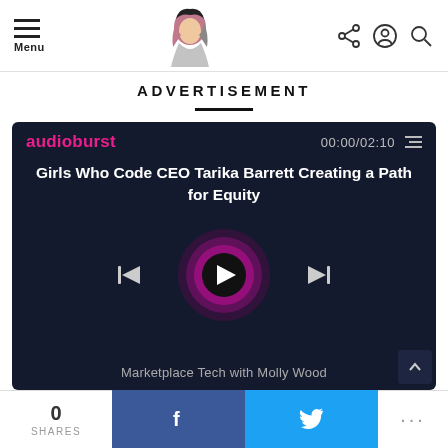Menu | [logo] | [share] [account] [search]
ADVERTISEMENT
[Figure (screenshot): Audioburst audio player widget with dark navy background. Shows 'audioburst' logo in pink, time display '00:00/02:10', a hamburger/list menu icon, and the title 'Girls Who Code CEO Tarika Barrett Creating a Path for Equity'. Below are playback controls: skip-back, a large circular play button with pink glowing rings, and skip-forward. Bottom text reads 'Marketplace Tech with Molly Wood'.]
Marketplace Tech with Molly Wood